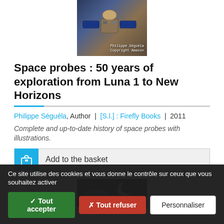[Figure (photo): Book cover image showing a satellite/space probe against a dark space background with text 'Philippe Séguéla Copyright Amazon']
Space probes : 50 years of exploration from Luna 1 to New Horizons
Philippe Séguéla, Author | [S.l.] : Firefly Books | 2011
Complete and up-to-date history of space probes with illustrations.
Add to the basket
[Figure (photo): Image of a planet or moon in space, dark background]
Ce site utilise des cookies et vous donne le contrôle sur ceux que vous souhaitez activer
✓ Tout accepter
✗ Tout refuser
Personnaliser